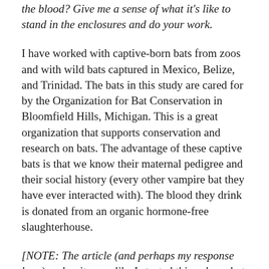the blood? Give me a sense of what it's like to stand in the enclosures and do your work.
I have worked with captive-born bats from zoos and with wild bats captured in Mexico, Belize, and Trinidad. The bats in this study are cared for by the Organization for Bat Conservation in Bloomfield Hills, Michigan. This is a great organization that supports conservation and research on bats. The advantage of these captive bats is that we know their maternal pedigree and their social history (every other vampire bat they have ever interacted with). The blood they drink is donated from an organic hormone-free slaughterhouse.
[NOTE: The article (and perhaps my response here) makes it seem like I started this colony, but I didn't; I came to work at OBC's vampire bats because I was invited by Rob Mies who saw me talk at a conference]